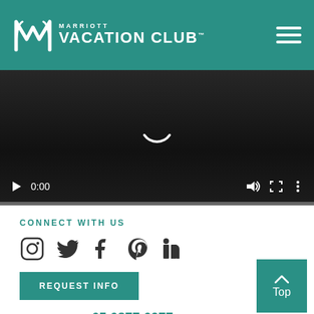Marriott Vacation Club
[Figure (screenshot): Video player with dark background, loading spinner, playback controls showing 0:00 timestamp, volume, fullscreen, and menu icons, and a progress bar at bottom.]
CONNECT WITH US
[Figure (infographic): Social media icons: Instagram, Twitter, Facebook, Pinterest, LinkedIn]
REQUEST INFO
or Learn More +65 6877 6077